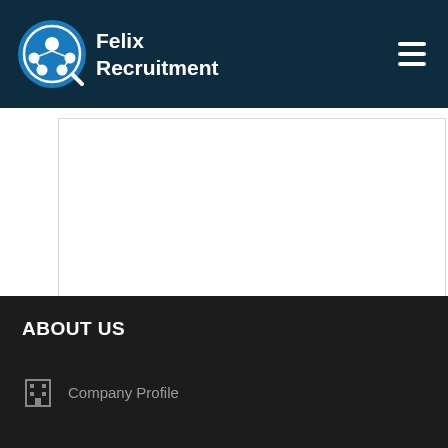Felix Recruitment
[Figure (screenshot): White content card area with a light blue 'KNOW MORE' button]
ABOUT US
Company Profile